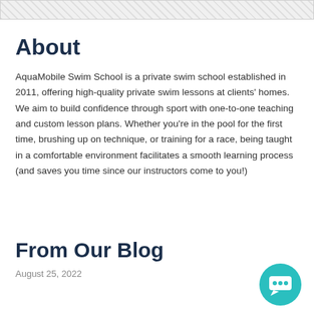[Figure (other): Decorative hatched/checkered image bar at the top of the page]
About
AquaMobile Swim School is a private swim school established in 2011, offering high-quality private swim lessons at clients' homes. We aim to build confidence through sport with one-to-one teaching and custom lesson plans. Whether you're in the pool for the first time, brushing up on technique, or training for a race, being taught in a comfortable environment facilitates a smooth learning process (and saves you time since our instructors come to you!)
From Our Blog
August 25, 2022
[Figure (other): Teal circular chat/messenger button icon in the bottom right corner]